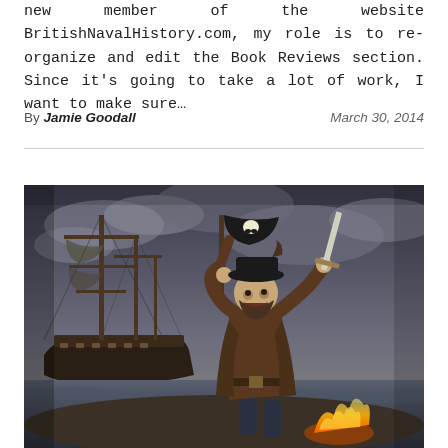new member of the website BritishNavalHistory.com, my role is to re-organize and edit the Book Reviews section. Since it's going to take a lot of work, I want to make sure...
By Jamie Goodall   March 30, 2014
[Figure (illustration): A dramatic illustration of a pirate in period costume wielding a cutlass and holding a Jolly Roger flag aloft, with a large sailing ship in a stormy background and flames at lower right.]